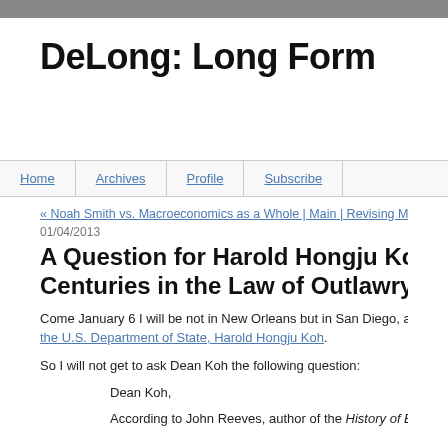DeLong: Long Form
Home | Archives | Profile | Subscribe
« Noah Smith vs. Macroeconomics as a Whole | Main | Revising My Fre...
01/04/2013
A Question for Harold Hongju Koh on Ch... Centuries in the Law of Outlawry...
Come January 6 I will be not in New Orleans but in San Diego, and hence... the U.S. Department of State, Harold Hongju Koh.
So I will not get to ask Dean Koh the following question:
Dean Koh,
According to John Reeves, author of the History of English Law fro...